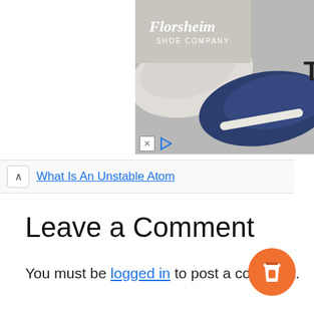[Figure (photo): Florsheim Shoe Company advertisement banner showing sneakers/shoes on a gray background with brand logo and ad controls (X close button and play button)]
What Is An Unstable Atom
Leave a Comment
You must be logged in to post a comment.
[Figure (illustration): Orange circular button with a coffee cup icon (Buy Me a Coffee widget)]